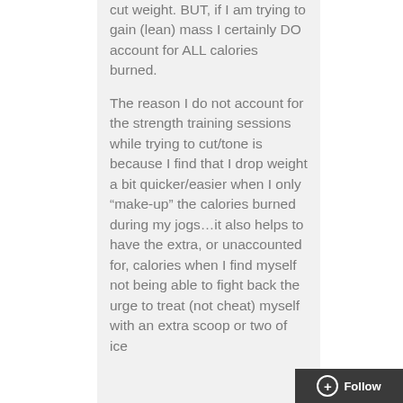cut weight. BUT, if I am trying to gain (lean) mass I certainly DO account for ALL calories burned.

The reason I do not account for the strength training sessions while trying to cut/tone is because I find that I drop weight a bit quicker/easier when I only “make-up” the calories burned during my jogs…it also helps to have the extra, or unaccounted for, calories when I find myself not being able to fight back the urge to treat (not cheat) myself with an extra scoop or two of ice